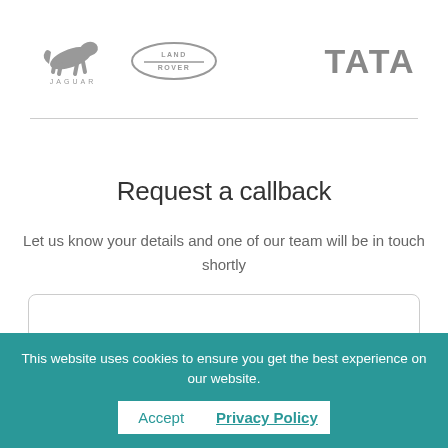[Figure (logo): Jaguar logo - leaping cat with JAGUAR text below, grey color]
[Figure (logo): Land Rover logo - oval badge with LAND-ROVER text, grey color]
[Figure (logo): TATA logo - bold grey text]
Request a callback
Let us know your details and one of our team will be in touch shortly
This website uses cookies to ensure you get the best experience on our website.
Accept
Privacy Policy